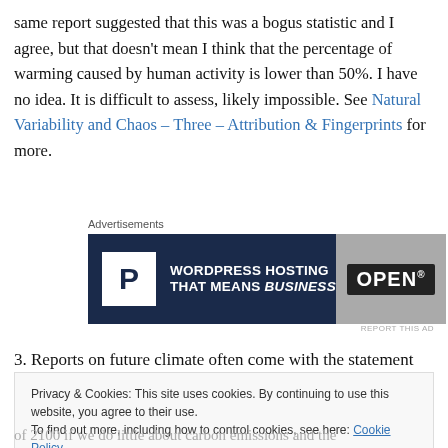same report suggested that this was a bogus statistic and I agree, but that doesn't mean I think that the percentage of warming caused by human activity is lower than 50%. I have no idea. It is difficult to assess, likely impossible. See Natural Variability and Chaos – Three – Attribution & Fingerprints for more.
[Figure (other): WordPress Hosting advertisement banner with dark navy background, white P logo box, text 'WORDPRESS HOSTING THAT MEANS BUSINESS.' and an OPEN sign photo on right side]
3. Reports on future climate often come with the statement
Privacy & Cookies: This site uses cookies. By continuing to use this website, you agree to their use.
To find out more, including how to control cookies, see here: Cookie Policy
of 2100 if we do little about carbon emissions and the